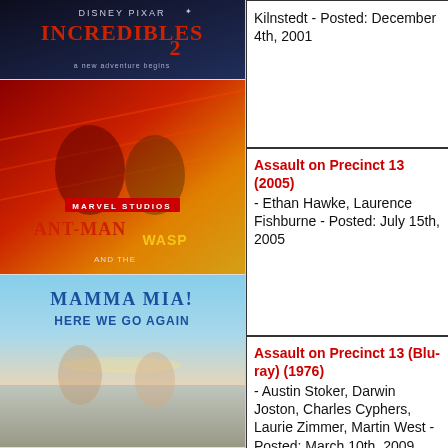[Figure (photo): Incredibles 2 movie poster - Disney Pixar animated film]
[Figure (photo): Ant-Man and the Wasp movie poster - Marvel Studios]
[Figure (photo): Mamma Mia! Here We Go Again movie poster]
Kilnstedt - Posted: December 4th, 2001
Assault on Precinct 13 (2005) - Ethan Hawke, Laurence Fishburne - Posted: July 15th, 2005
Assault on Precinct 13 (Blu-ray) (1976) - Austin Stoker, Darwin Joston, Charles Cyphers, Laurie Zimmer, Martin West - Posted: March 10th, 2009